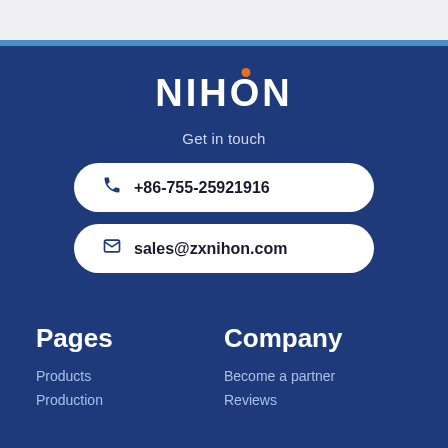[Figure (logo): NIHON company logo in white bold text with an orange dot above the O, on dark blue background]
Get in touch
+86-755-25921916
sales@zxnihon.com
Pages
Products
Production
Company
Become a partner
Reviews